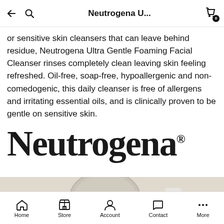Neutrogena U...
or sensitive skin cleansers that can leave behind residue, Neutrogena Ultra Gentle Foaming Facial Cleanser rinses completely clean leaving skin feeling refreshed. Oil-free, soap-free, hypoallergenic and non-comedogenic, this daily cleanser is free of allergens and irritating essential oils, and is clinically proven to be gentle on sensitive skin.
[Figure (logo): Neutrogena brand logo in large serif font with registered trademark symbol]
[Figure (photo): Product lifestyle photo showing Neutrogena products on a beige/cream surface]
Home  Store  Account  Contact  More